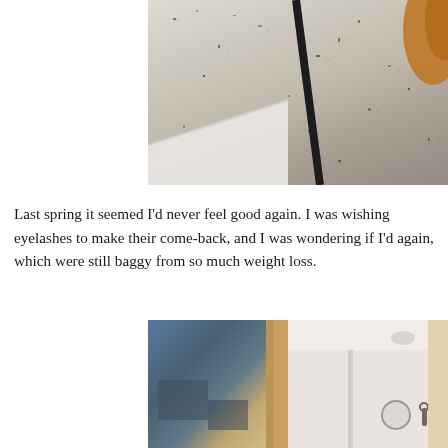[Figure (photo): Close-up photo showing a granite countertop with white trim/cabinet molding below it, a black diagonal bar (possibly a coat rack or stand), and orange fur (likely a cat) visible in the upper right corner.]
Last spring it seemed I'd never feel good again. I was wishing eyelashes to make their come-back, and I was wondering if I'd again, which were still baggy from so much weight loss.
[Figure (photo): Interior home photo showing a decorative mirror with a rustic wood frame reflecting a hallway with white walls, a ceiling light, a wall clock, and a key hook. The left side shows a painting or artwork with blue-grey tones.]